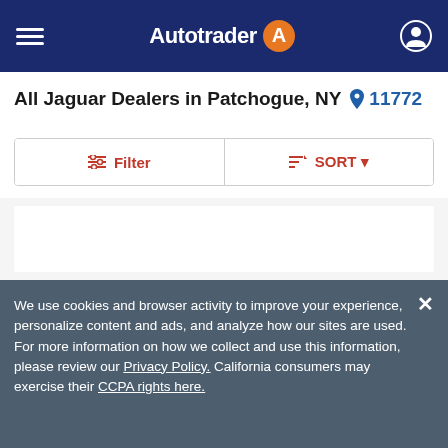Autotrader
All Jaguar Dealers in Patchogue, NY  11772
| Filter | Sort |
| --- | --- |
[Figure (other): Empty white content area for dealer listings]
We use cookies and browser activity to improve your experience, personalize content and ads, and analyze how our sites are used. For more information on how we collect and use this information, please review our Privacy Policy. California consumers may exercise their CCPA rights here.